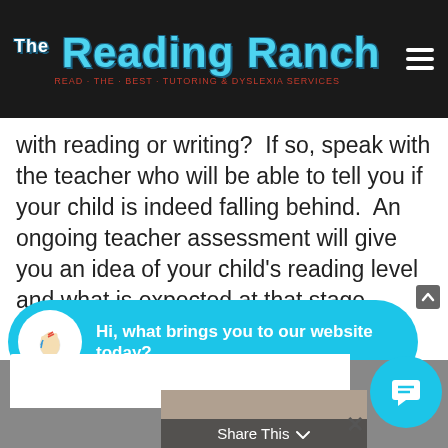[Figure (logo): The Reading Ranch logo on dark background with hamburger menu icon]
with reading or writing?  If so, speak with the teacher who will be able to tell you if your child is indeed falling behind.  An ongoing teacher assessment will give you an idea of your child's reading level and what is expected at that stage.
[Figure (other): More button - rounded rectangle blue button]
[Figure (other): Chat widget bubble: Hi, what brings you to our website today?]
[Figure (other): Bottom section with Share This bar and floating chat button]